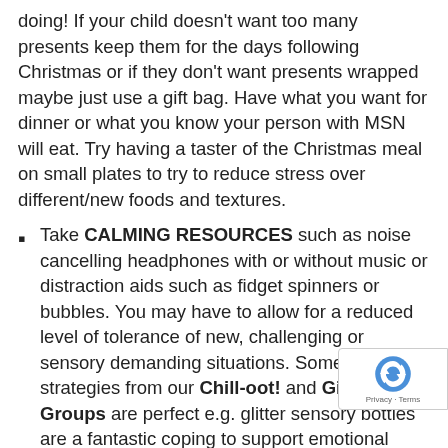doing! If your child doesn't want too many presents keep them for the days following Christmas or if they don't want presents wrapped maybe just use a gift bag. Have what you want for dinner or what you know your person with MSN will eat. Try having a taster of the Christmas meal on small plates to try to reduce stress over different/new foods and textures.
Take CALMING RESOURCES such as noise cancelling headphones with or without music or distraction aids such as fidget spinners or bubbles. You may have to allow for a reduced level of tolerance of new, challenging or sensory demanding situations. Some of strategies from our Chill-oot! and Girl's Groups are perfect e.g. glitter sensory bottles are a fantastic coping to support emotional regulation. To make t simply add glue and glitter with warm water to a